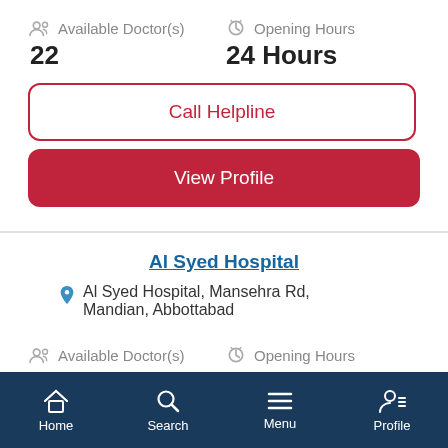Available Doctor(s) 22
Opening Hours 24 Hours
Call Helpline
View Profile
Al Syed Hospital
Al Syed Hospital, Mansehra Rd, Mandian, Abbottabad
Available Doctor(s)
Opening Hours
Home  Search  Menu  Profile